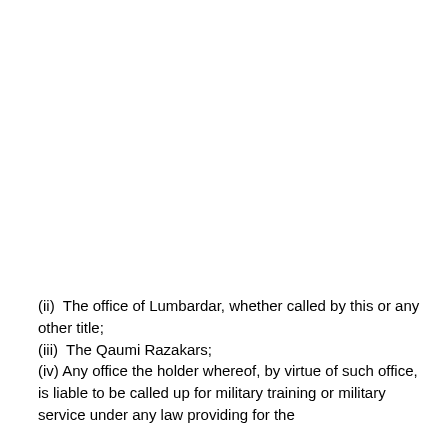(ii)  The office of Lumbardar, whether called by this or any other title;
(iii)  The Qaumi Razakars;
(iv) Any office the holder whereof, by virtue of such office, is liable to be called up for military training or military service under any law providing for the constitution or raising of a Force.